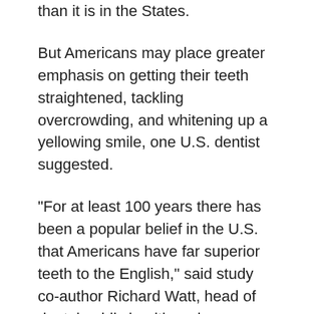than it is in the States.
But Americans may place greater emphasis on getting their teeth straightened, tackling overcrowding, and whitening up a yellowing smile, one U.S. dentist suggested.
"For at least 100 years there has been a popular belief in the U.S. that Americans have far superior teeth to the English," said study co-author Richard Watt, head of dental public health and a professor of epidemiology and public health at University College London in England.
This impression, he noted, has many popular culture reinforcements, ranging from tooth-